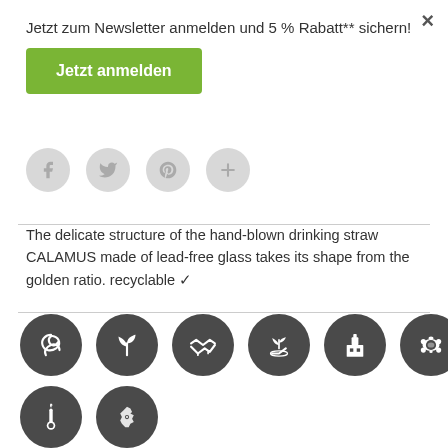Jetzt zum Newsletter anmelden und 5 % Rabatt** sichern!
Jetzt anmelden
[Figure (infographic): Social media sharing icons: Facebook, Twitter, Pinterest, and a plus/share button, each in a light grey circle]
The delicate structure of the hand-blown drinking straw CALAMUS made of lead-free glass takes its shape from the golden ratio. recyclable ✓
[Figure (infographic): Eight dark grey circular icons representing sustainability and eco-related themes: wind/swirl, plant sprout, handshake, plant in hand, factory/building, turtle, candle/thermometer, Germany map]